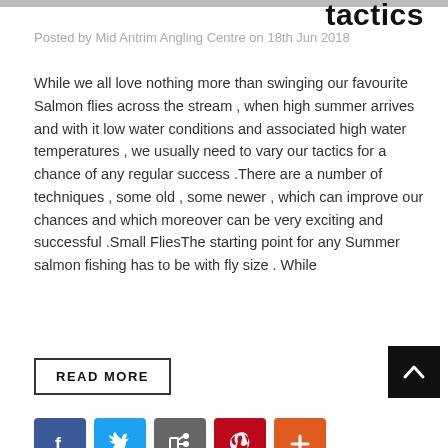tactics
Posted by Mid Antrim Angling Centre on 18th Jun 2018
While we all love nothing more than swinging our favourite Salmon flies across the stream , when high summer arrives and with it low water conditions and associated high water temperatures , we usually need to vary our tactics for a chance of any regular success .There are a number of techniques , some old , some newer , which can improve our chances and which moreover can be very exciting and successful .Small FliesThe starting point for any Summer salmon fishing has to be with fly size . While
READ MORE
[Figure (infographic): Social share buttons: Facebook, Twitter, share, Pinterest, plus]
Sp... Salmon on the Irish Loughs
Posted by Mid Antrim Angling Centre on 2nd Mar 2018